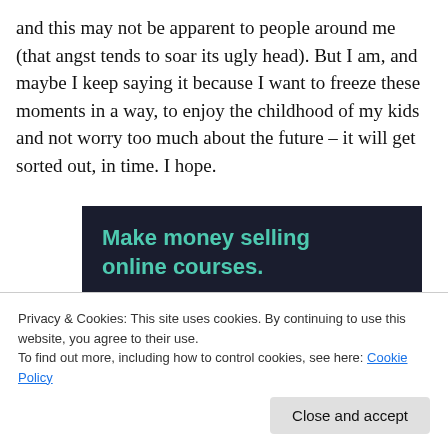and this may not be apparent to people around me (that angst tends to soar its ugly head). But I am, and maybe I keep saying it because I want to freeze these moments in a way, to enjoy the childhood of my kids and not worry too much about the future – it will get sorted out, in time. I hope.
[Figure (other): Dark advertisement banner with teal text reading 'Make money selling online courses.']
Privacy & Cookies: This site uses cookies. By continuing to use this website, you agree to their use.
To find out more, including how to control cookies, see here: Cookie Policy